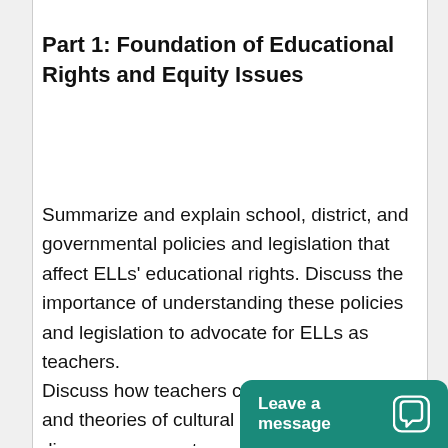Part 1: Foundation of Educational Rights and Equity Issues
Summarize and explain school, district, and governmental policies and legislation that affect ELLs' educational rights. Discuss the importance of understanding these policies and legislation to advocate for ELLs as teachers.
Discuss how teachers can apply research and theories of cultural and linguistic diversity to promote aca...